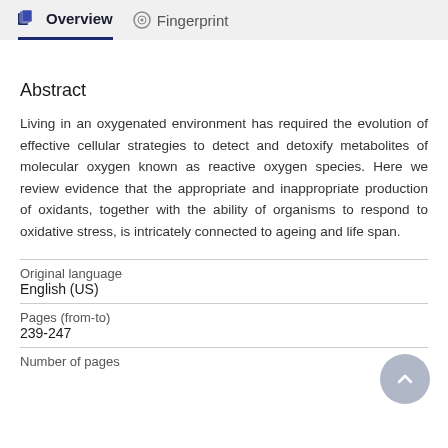Overview   Fingerprint
Abstract
Living in an oxygenated environment has required the evolution of effective cellular strategies to detect and detoxify metabolites of molecular oxygen known as reactive oxygen species. Here we review evidence that the appropriate and inappropriate production of oxidants, together with the ability of organisms to respond to oxidative stress, is intricately connected to ageing and life span.
| Original language |  |
| English (US) |  |
| Pages (from-to) |  |
| 239-247 |  |
| Number of pages |  |